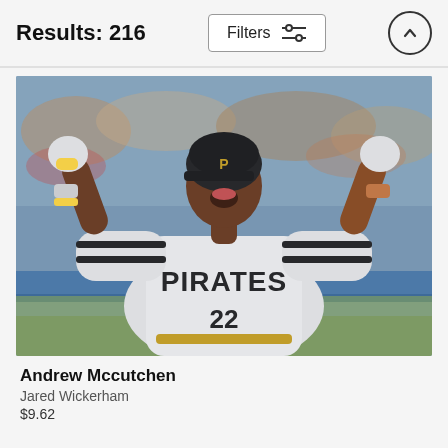Results: 216
[Figure (screenshot): Filters button with sliders icon and up-arrow circle button in header bar]
[Figure (photo): Andrew McCutchen wearing Pittsburgh Pirates jersey #22, arms raised in celebration, blurred stadium crowd in background]
Andrew Mccutchen
Jared Wickerham
$9.62